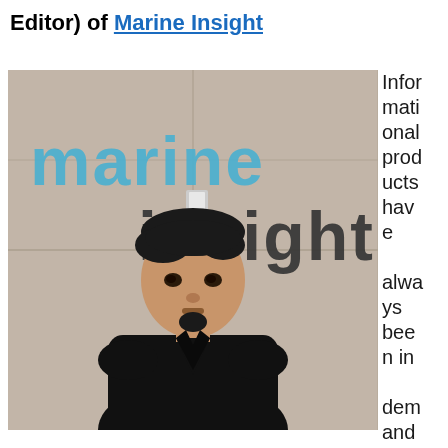Editor) of Marine Insight
[Figure (photo): A man in a black V-neck sweater standing in front of a Marine Insight logo sign on a wall.]
Informational products have always been in demand